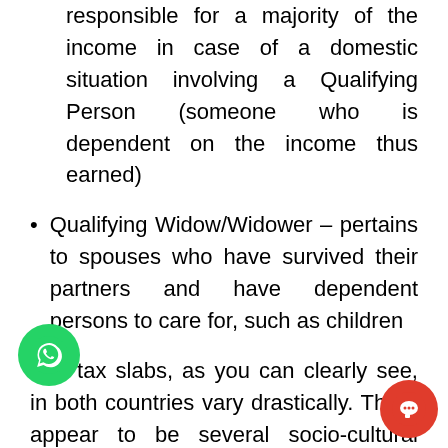responsible for a majority of the income in case of a domestic situation involving a Qualifying Person (someone who is dependent on the income thus earned)
Qualifying Widow/Widower – pertains to spouses who have survived their partners and have dependent persons to care for, such as children
The tax slabs, as you can clearly see, in both countries vary drastically. There appear to be several socio-cultural factors influencing the definition of these tax slabs in the US, such as domestic situation and presence of dependent individuals, as opposed to India where age is t